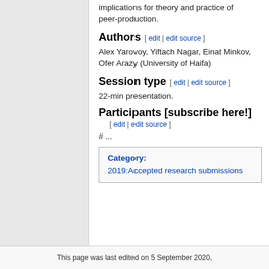implications for theory and practice of peer-production.
Authors [ edit | edit source ]
Alex Yarovoy, Yiftach Nagar, Einat Minkov, Ofer Arazy (University of Haifa)
Session type [ edit | edit source ]
22-min presentation.
Participants [subscribe here!] [ edit | edit source ]
# ...
| Category: | 2019:Accepted research submissions |
This page was last edited on 5 September 2020,